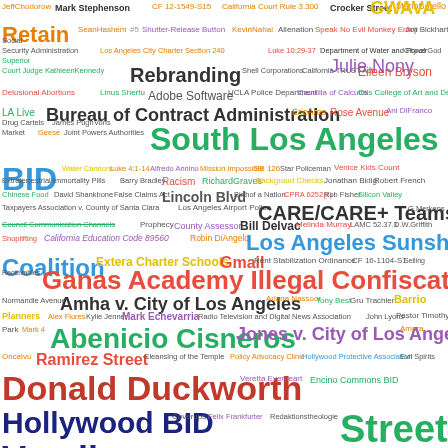[Figure (infographic): Word cloud of Los Angeles government, legal, and civic topics including 'South Los Angeles Industrial Tract BID', 'CARE/CARE+ Teams', 'Ganas Academy Illegal Confiscation of Property', 'Abenicio Cisneros', 'Hollywood BID', 'Donald Duckworth', 'Jones v. City of Los Angeles', 'Bureau of Contract Administration', 'Amha v. City of Los Angeles', 'Ramirez Street', 'Lincoln Blvd', 'Los Angeles Sunshine Coalition', 'Extera Charter Schools', 'Gmail', and many more terms in various colors and sizes.]